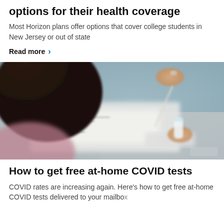options for their health coverage
Most Horizon plans offer options that cover college students in New Jersey or out of state
Read more >
[Figure (photo): Woman seen from behind holding a COVID rapid antigen test swab and vial, with a test kit booklet open on a table in front of her.]
How to get free at-home COVID tests
COVID rates are increasing again. Here's how to get free at-home COVID tests delivered to your mailbox.